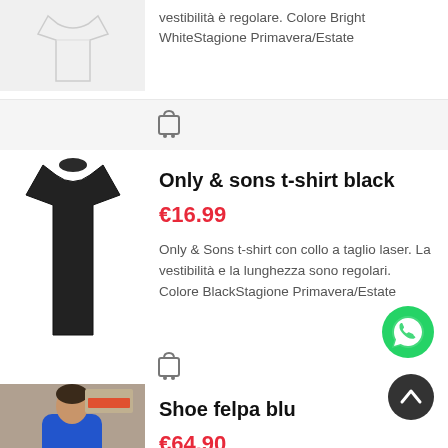vestibilità è regolare. Colore Bright WhiteStagione Primavera/Estate
[Figure (other): Shopping cart icon (gray)]
[Figure (photo): Black t-shirt product photo]
Only & sons t-shirt black
€16.99
Only & Sons t-shirt con collo a taglio laser. La vestibilità e la lunghezza sono regolari. Colore BlackStagione Primavera/Estate
[Figure (other): Shopping cart icon (gray)]
[Figure (photo): Man wearing blue felpa jacket, outdoor street background]
Shoe felpa blu
€64.90
[Figure (other): WhatsApp floating action button (green circle with phone icon)]
[Figure (other): Scroll-to-top floating action button (dark circle with up arrow)]